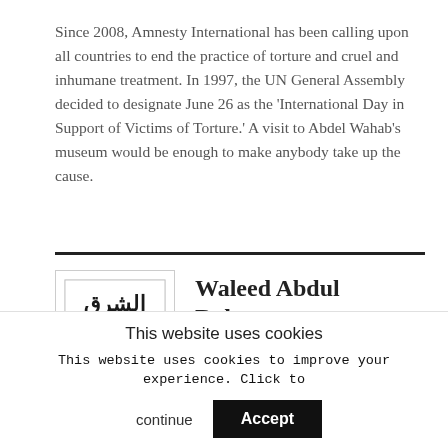Since 2008, Amnesty International has been calling upon all countries to end the practice of torture and cruel and inhumane treatment. In 1997, the UN General Assembly decided to designate June 26 as the 'International Day in Support of Victims of Torture.' A visit to Abdel Wahab's museum would be enough to make anybody take up the cause.
[Figure (logo): Asharq Al-Awsat newspaper logo with Arabic text]
Waleed Abdul Rahman
More Posts
This website uses cookies
This website uses cookies to improve your experience. Click to continue